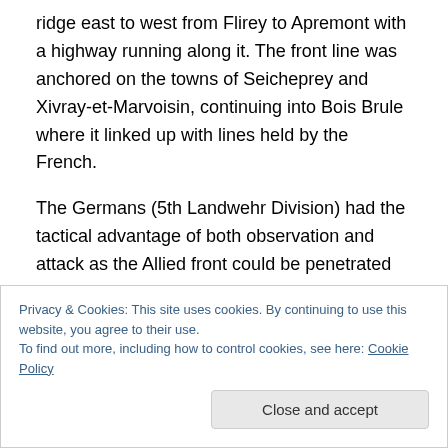ridge east to west from Flirey to Apremont with a highway running along it. The front line was anchored on the towns of Seicheprey and Xivray-et-Marvoisin, continuing into Bois Brule where it linked up with lines held by the French.
The Germans (5th Landwehr Division) had the tactical advantage of both observation and attack as the Allied front could be penetrated through several shallow ravines. In addition, the Allied trenches were in very poor condition and had drainage problems. The entire length of the La Reine Sector front was 18 kilometers and this was the first
Privacy & Cookies: This site uses cookies. By continuing to use this website, you agree to their use.
To find out more, including how to control cookies, see here: Cookie Policy